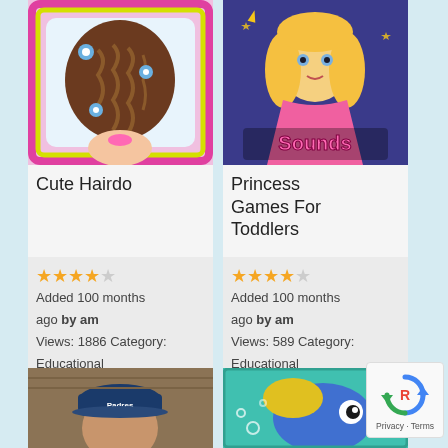[Figure (screenshot): App icon for Cute Hairdo - cartoon braided hair with flower accessories on pink/yellow border]
Cute Hairdo
★★★★☆ Added 100 months ago by am Views: 1886 Category: Educational
[Figure (screenshot): App icon for Princess Games For Toddlers - cartoon blonde princess with pink dress, Sounds text]
Princess Games For Toddlers
★★★★☆ Added 100 months ago by am Views: 589 Category: Educational
[Figure (photo): Partial view of a person wearing a Padres baseball cap]
[Figure (illustration): Partial view of a colorful fish illustration on teal background]
[Figure (logo): Google reCAPTCHA logo with Privacy and Terms text]